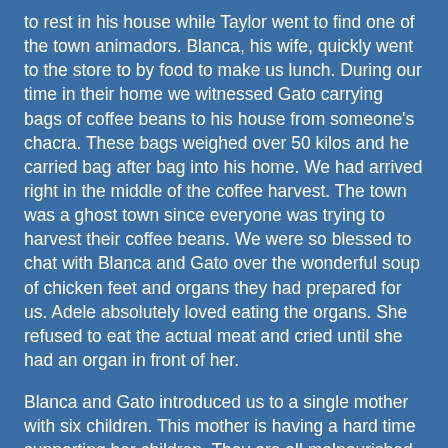to rest in his house while Taylor went to find one of the town animadors. Blanca, his wife, quickly went to the store to by food to make us lunch. During our time in their home we witnessed Gato carrying bags of coffee beans to his house from someone's chacra. These bags weighed over 50 kilos and he carried bag after bag into his home. We had arrived right in the middle of the coffee harvest. The town was a ghost town since everyone was trying to harvest their coffee beans. We were so blessed to chat with Blanca and Gato over the wonderful soup of chicken feet and organs they had prepared for us. Adele absolutely loved eating the organs. She refused to eat the actual meat and cried until she had an organ in front of her.
Blanca and Gato introduced us to a single mother with six children. This mother is having a hard time supporting her children. They are all malnourished and underweight. She has no support from the father and desperately wants a better life for her children. She asked us to find them a home out of Chanchomayo. She doesn't want to see them suffer anymore and she knows that she needs to find them a better home. It broke my heart to hear her story and to see the pain